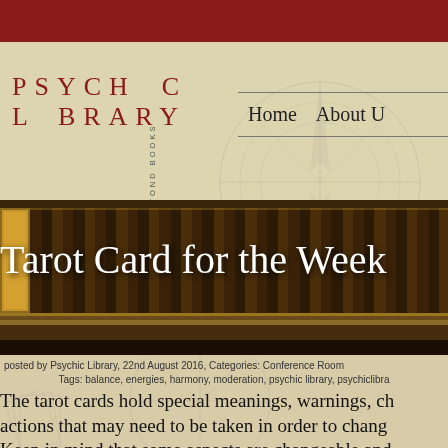[Figure (screenshot): Psychic Library website header with dark red top bar, parchment background with faint compass/map watermark, red PSYCHIC LIBRARY logo on left, vertical text BEYOND BOOKS, and navigation links Home, About U on right]
PSYCHIC LIBRARY
BEYOND BOOKS
Home    About U
[Figure (photo): Library shelf with rows of old leather-bound books with gold lettering on dark wooden shelves]
Tarot Card for the Week
posted by Psychic Library, 22nd August 2016, Categories: Conference Room
Tags: balance, energies, harmony, moderation, psychic library, psychiclibra
The tarot cards hold special meanings, warnings, ch actions that may need to be taken in order to chang Keep in mind that some aspects are changeable and